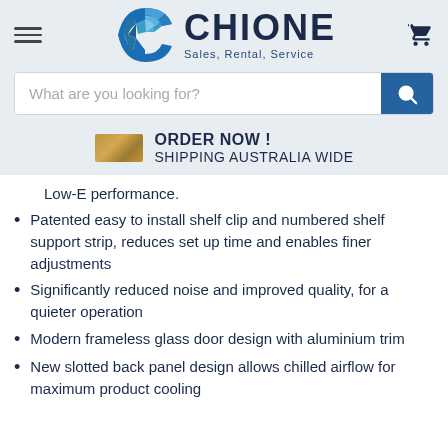[Figure (logo): Chione logo with blue faceted C shape and dark navy CHIONE text, tagline Sales, Rental, Service]
What are you looking for?
ORDER NOW ! SHIPPING AUSTRALIA WIDE
Low-E performance.
Patented easy to install shelf clip and numbered shelf support strip, reduces set up time and enables finer adjustments
Significantly reduced noise and improved quality, for a quieter operation
Modern frameless glass door design with aluminium trim
New slotted back panel design allows chilled airflow for maximum product cooling